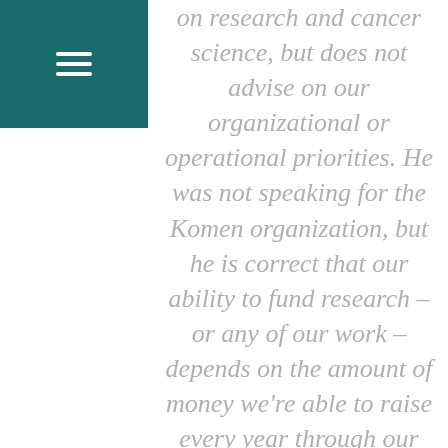on research and cancer science, but does not advise on our organizational or operational priorities. He was not speaking for the Komen organization, but he is correct that our ability to fund research – or any of our work – depends on the amount of money we're able to raise every year through our donations and fundraising events. This year, we've begun a new donation program which gives donors the ability to fund metastatic research directly. We encourage those who are interested in supporting metastatic research to help us fund those projects